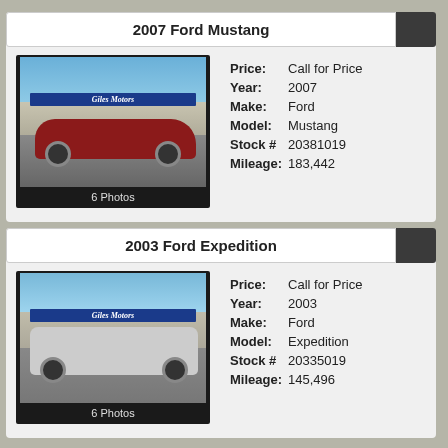2007 Ford Mustang
[Figure (photo): Red 2007 Ford Mustang in front of Giles Motors dealership, labeled '6 Photos']
Price: Call for Price
Year: 2007
Make: Ford
Model: Mustang
Stock # 20381019
Mileage: 183,442
2003 Ford Expedition
[Figure (photo): Silver 2003 Ford Expedition in front of Giles Motors dealership, labeled '6 Photos']
Price: Call for Price
Year: 2003
Make: Ford
Model: Expedition
Stock # 20335019
Mileage: 145,496